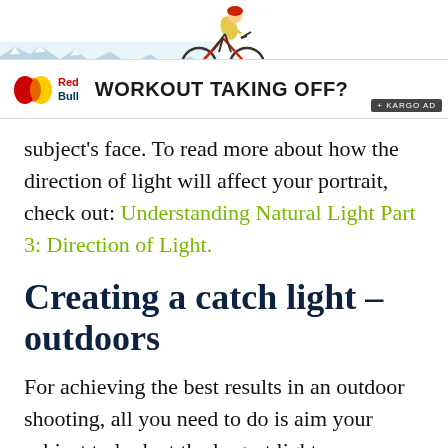[Figure (illustration): Advertisement banner: Red Bull ad with mountain background illustration and cyclist on bicycle at top, 'WORKOUT TAKING OFF?' headline, Red Bull logo, Kargo ad badge]
subject's face. To read more about how the direction of light will affect your portrait, check out: Understanding Natural Light Part 3: Direction of Light.
Creating a catch light – outdoors
For achieving the best results in an outdoor shooting, all you need to do is aim your subject to look at the largest light source – the sky. DO